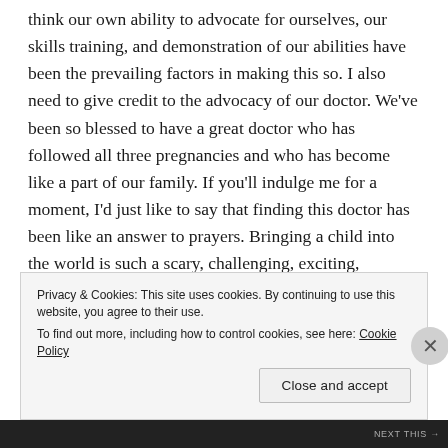think our own ability to advocate for ourselves, our skills training, and demonstration of our abilities have been the prevailing factors in making this so. I also need to give credit to the advocacy of our doctor. We've been so blessed to have a great doctor who has followed all three pregnancies and who has become like a part of our family. If you'll indulge me for a moment, I'd just like to say that finding this doctor has been like an answer to prayers. Bringing a child into the world is such a scary, challenging, exciting, emotional, intimate experience and I'm so grateful that we've been able to work with her. She originally started out as just my regular physician about ten years ago, but because she is a family medicine doctor, she's now become Jesse's doctor and our pediatrician. She's also been
Privacy & Cookies: This site uses cookies. By continuing to use this website, you agree to their use.
To find out more, including how to control cookies, see here: Cookie Policy
Close and accept